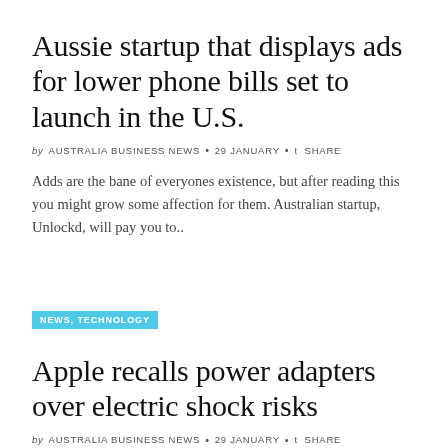Aussie startup that displays ads for lower phone bills set to launch in the U.S.
by AUSTRALIA BUSINESS NEWS • 29 JANUARY • t SHARE
Adds are the bane of everyones existence, but after reading this you might grow some affection for them. Australian startup, Unlockd, will pay you to..
NEWS, TECHNOLOGY
Apple recalls power adapters over electric shock risks
by AUSTRALIA BUSINESS NEWS • 29 JANUARY • t SHARE